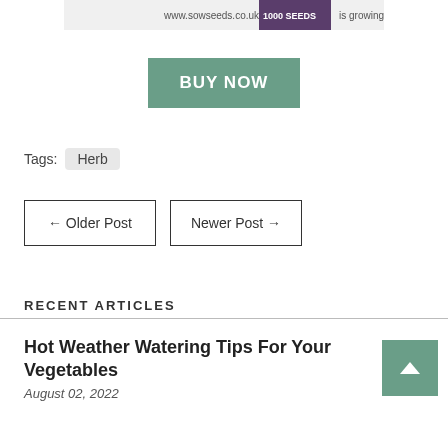[Figure (photo): Seed packet label showing www.sowseeds.co.uk, 1000 SEEDS, is growing...]
BUY NOW
Tags:  Herb
← Older Post
Newer Post →
RECENT ARTICLES
Hot Weather Watering Tips For Your Vegetables
August 02, 2022